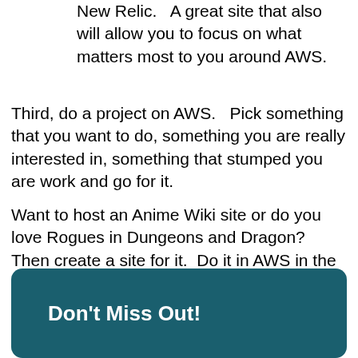New Relic.   A great site that also will allow you to focus on what matters most to you around AWS.
Third, do a project on AWS.   Pick something that you want to do, something you are really interested in, something that stumped you are work and go for it.
Want to host an Anime Wiki site or do you love Rogues in Dungeons and Dragon?  Then create a site for it.  Do it in AWS in the most efficient way possible and maybe even monetize it to pay for your AWS labs.
Don't Miss Out!